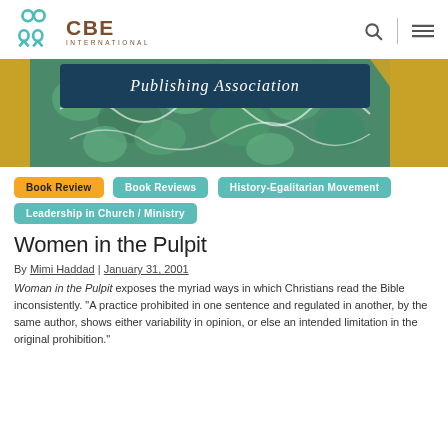CBE International
[Figure (photo): Book cover image showing 'Publishing Association' text over a teal/green textured background with gold diagonal element]
Book Review
Book Reviews
History-Egalitarian Movement
Leadership in Church / Ministry
Women in the Pulpit
By Mimi Haddad | January 31, 2001
Woman in the Pulpit exposes the myriad ways in which Christians read the Bible inconsistently. "A practice prohibited in one sentence and regulated in another, by the same author, shows either variability in opinion, or else an intended limitation in the original prohibition."